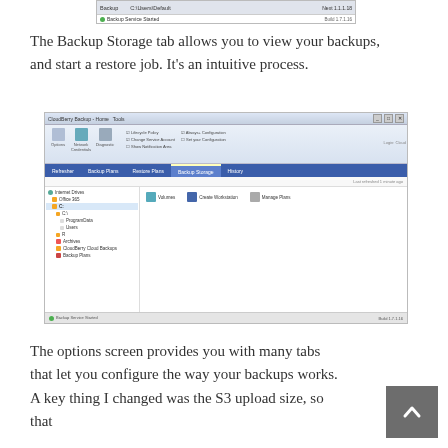[Figure (screenshot): Partial top of a backup software window showing a title bar row with 'Backup' and 'C:\Users\Default' text, and a status bar with green dot saying 'Backup Service Started' and version number on the right.]
The Backup Storage tab allows you to view your backups, and start a restore job. It's an intuitive process.
[Figure (screenshot): CloudBerry Backup application screenshot showing the Backup Storage tab selected in the main navigation. Left panel shows a tree of drives and folders including Internet Drives, Office 365, C:, ProgramData, Users, R, Archives, CloudBerry Cloud Backups, Backup Plans. Right panel shows action buttons: Volumes, Create Workstation, Manage Plans. Status bar at bottom shows 'Backup Service Started' and version number.]
The options screen provides you with many tabs that let you configure the way your backups works. A key thing I changed was the S3 upload size, so that